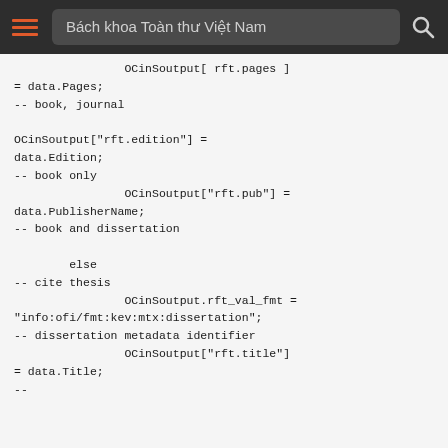Bách khoa Toàn thư Việt Nam
OCinSoutput[ rft.pages ]
= data.Pages;
-- book, journal

OCinSoutput["rft.edition"] =
data.Edition;
-- book only
                OCinSoutput["rft.pub"] =
data.PublisherName;
-- book and dissertation

        else
-- cite thesis
                OCinSoutput.rft_val_fmt =
"info:ofi/fmt:kev:mtx:dissertation";
-- dissertation metadata identifier
                OCinSoutput["rft.title"]
= data.Title;
--